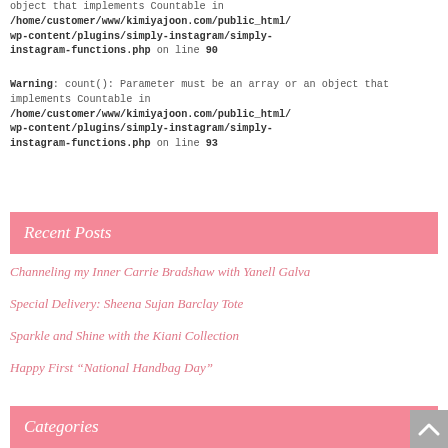object that implements Countable in /home/customer/www/kimiyajoon.com/public_html/wp-content/plugins/simply-instagram/simply-instagram-functions.php on line 90
Warning: count(): Parameter must be an array or an object that implements Countable in /home/customer/www/kimiyajoon.com/public_html/wp-content/plugins/simply-instagram/simply-instagram-functions.php on line 93
Recent Posts
Channeling my Inner Carrie Bradshaw with Yanell Galva
Special Delivery: Sheena Sujan Barclay Tote
Sparkle and Shine with the Kiani Collection
Happy First “National Handbag Day”
Categories
Beauty